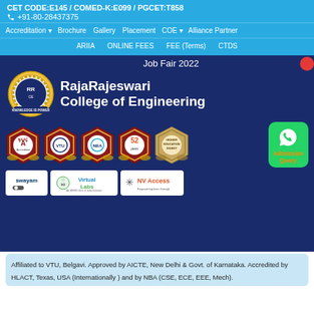CET CODE:E145 / COMED-K:E099 / PGCET:T858
+91-80-28437375
Accreditation | Brochure | Gallery | Placement | COE | Alliance Partner | ARIIA | ONLINE FEES | FEE (Terms) | CTDS
Job Fair 2022
RajaRajeswari College of Engineering
[Figure (logo): RajaRajeswari College of Engineering circular logo with Knowledge is Power banner]
[Figure (infographic): Five accreditation/award shield badges: NAAC 'A' Accredited, VTU affiliated shield, NBA shield, 52 years shield, Higher Education shield]
[Figure (logo): WhatsApp icon green button with Admission Query text]
[Figure (logo): Swayam logo, Virtual Labs (An MHRD Govt of India Initiative) logo, NV Access logo]
Affiliated to VTU, Belgavi. Approved by AICTE, New Delhi & Govt. of Karnataka. Accredited by HLACT, Texas, USA (Internationally ) and by NBA (CSE, ECE, EEE, Mech).